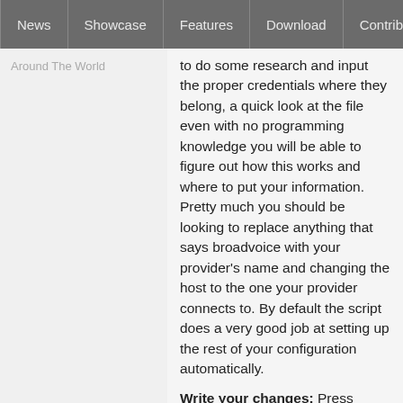News | Showcase | Features | Download | Contribute | Support
Around The World
to do some research and input the proper credentials where they belong, a quick look at the file even with no programming knowledge you will be able to figure out how this works and where to put your information. Pretty much you should be looking to replace anything that says broadvoice with your provider's name and changing the host to the one your provider connects to. By default the script does a very good job at setting up the rest of your configuration automatically.
Write your changes: Press CNTRL+O
Exit: Press CNTRL+X
Pull your config into the Web Admin
Make yourself sudo user: "sudo su"
Edit the Provider List: "nano